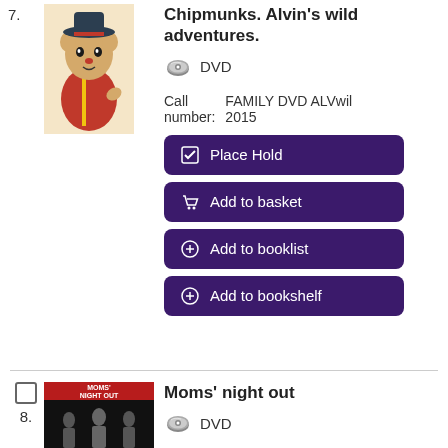7. Chipmunks. Alvin's wild adventures. DVD — FAMILY DVD ALVwil 2015
8. Moms' night out. DVD